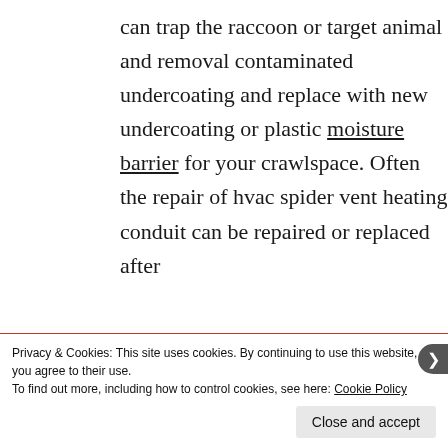can trap the raccoon or target animal and removal contaminated undercoating and replace with new undercoating or plastic moisture barrier for your crawlspace. Often the repair of hvac spider vent heating conduit can be repaired or replaced after
Privacy & Cookies: This site uses cookies. By continuing to use this website, you agree to their use.
To find out more, including how to control cookies, see here: Cookie Policy